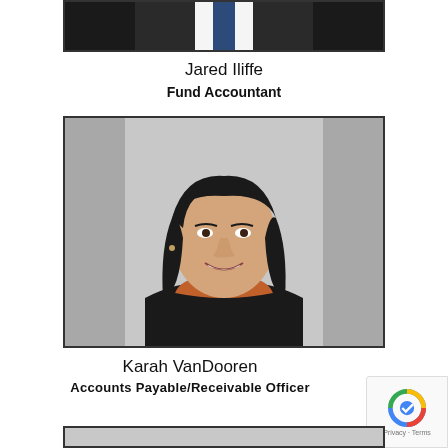[Figure (photo): Cropped bottom portion of a professional headshot of Jared Iliffe, showing his suit and tie against a light background]
Jared Iliffe
Fund Accountant
[Figure (photo): Professional headshot of Karah VanDooren, a woman with long dark hair wearing a black blazer and orange top, smiling against a grey background]
Karah VanDooren
Accounts Payable/Receivable Officer
[Figure (photo): Partial view of another profile photo at the bottom of the page]